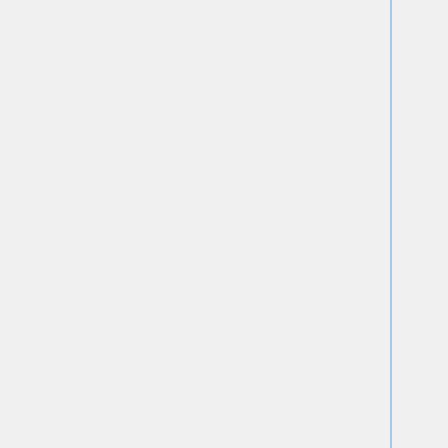| Property | Description |
| --- | --- |
| management-protection (yes | no) |  |
| nstreme (yes | no) | Shows whether Nstreme is enabled |
| p-throughput (integer) | estimated approximate throughput that is expected to the given peer, taking into account the effective transmit rate and hardware retries. Calculated once in 5 seconds |
| packed-bytes (integer, integer) | number of bytes packed into larger frames for transmitting/receiving (framing) |
| packed-frames (integer, | number of frame |